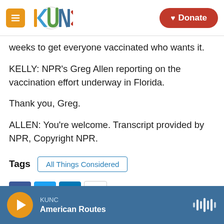KUNC navigation bar with Donate button
weeks to get everyone vaccinated who wants it.
KELLY: NPR's Greg Allen reporting on the vaccination effort underway in Florida.
Thank you, Greg.
ALLEN: You're welcome. Transcript provided by NPR, Copyright NPR.
Tags  All Things Considered
KUNC — American Routes player bar